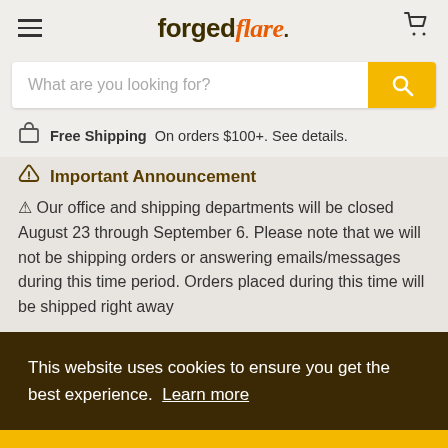forgedflare.
What are you looking for?
Free Shipping On orders $100+. See details.
Important Announcement
⚠ Our office and shipping departments will be closed August 23 through September 6. Please note that we will not be shipping orders or answering emails/messages during this time period. Orders placed during this time will be shipped right away
This website uses cookies to ensure you get the best experience. Learn more
Ok
perfect as birthday and remembrance gifts —